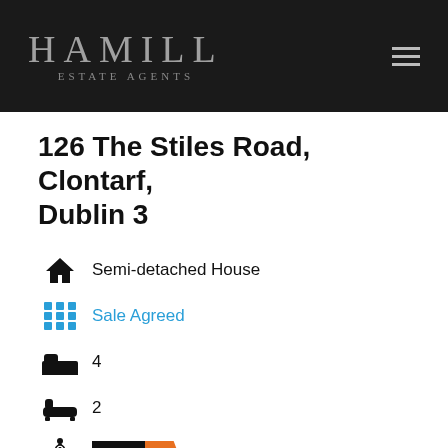HAMILL ESTATE AGENTS
126 The Stiles Road, Clontarf, Dublin 3
Semi-detached House
Sale Agreed
4 bedrooms
2 bathrooms
BER F
148 sq m